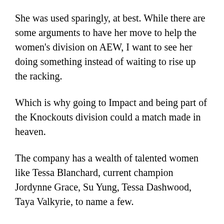She was used sparingly, at best. While there are some arguments to have her move to help the women's division on AEW, I want to see her doing something instead of waiting to rise up the racking.
Which is why going to Impact and being part of the Knockouts division could a match made in heaven.
The company has a wealth of talented women like Tessa Blanchard, current champion Jordynne Grace, Su Yung, Tessa Dashwood, Taya Valkyrie, to name a few.
Heath Slater
WWE long-timer Slater has followed his fellow 3MB members and been released but has his former band